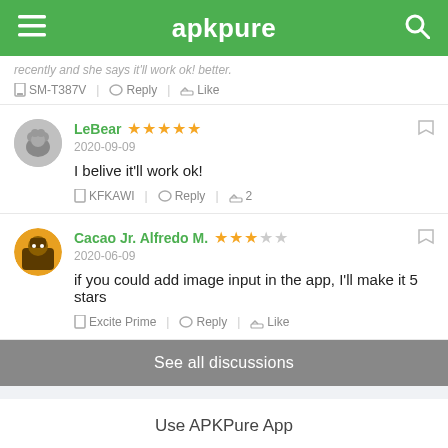apkpure
recently and she says it'll work ok! better.
SM-T387V | Reply | Like
LeBear ★★★★★ 2020-09-09
I belive it'll work ok!
KFKAWI | Reply | Like 2
Cacao Jr. Alfredo M. ★★★☆☆ 2020-06-09
if you could add image input in the app, I'll make it 5 stars
Excite Prime | Reply | Like
See all discussions
Use APKPure App
APK Downloader
Free Online Games